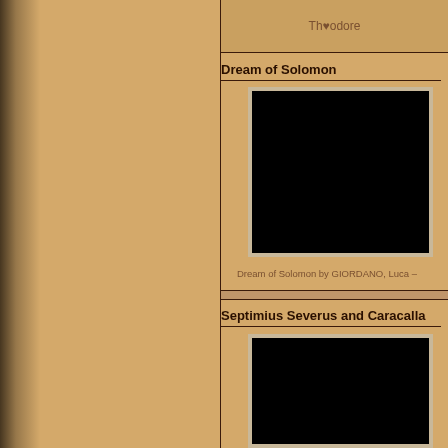Théodore
Dream of Solomon
[Figure (photo): A dark/mostly black image representing Dream of Solomon painting]
Dream of Solomon by GIORDANO, Luca –
Septimius Severus and Caracalla
[Figure (photo): A dark/mostly black image representing Septimius Severus and Caracalla painting]